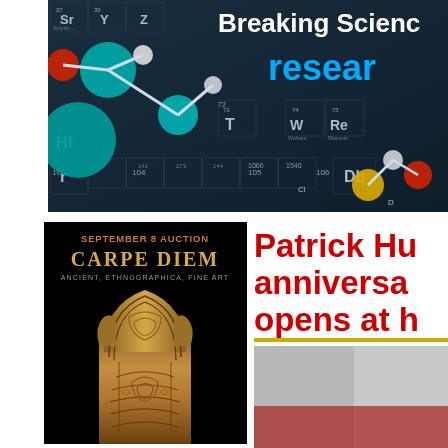[Figure (photo): Science banner with molecular structures (teal, red, yellow, white ball-and-stick molecules) overlaid on a periodic table of elements background. Text reads 'Breaking Scienc...' and 'resear...' in blue.]
[Figure (photo): Auction advertisement image on black background. Text at top: 'SEPTEMBER 8 AUCTION', 'CARPE DIEM', 'ANCIENT, ETHNOGRAPHICA, FINE ART'. Below is a photograph of an ancient carved stone artifact with ornate patterns.]
Patrick Hu... anniversa... opens at h...